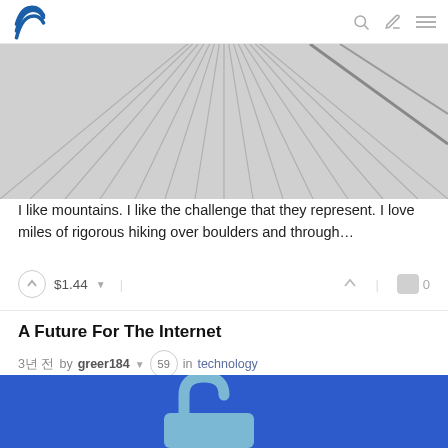Steem — A Future For The Internet
[Figure (photo): Top portion of an image showing radiating diagonal lines on a gray background, cropped at top]
I like mountains. I like the challenge that they represent. I love miles of rigorous hiking over boulders and through…
$1.44  0
A Future For The Internet
3년 전 by greer184 ▾  59  in technology
[Figure (illustration): Blue background with a light blue unlocked padlock icon centered]